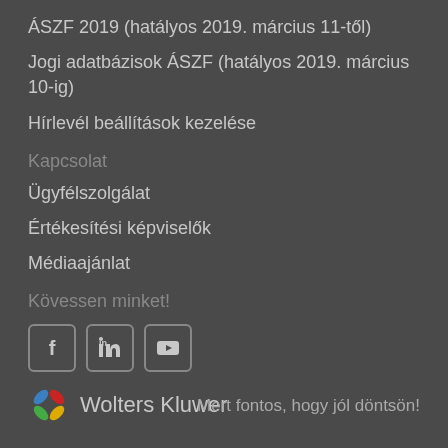ÁSZF 2019 (hatályos 2019. március 11-től)
Jogi adatbázisok ÁSZF (hatályos 2019. március 10-ig)
Hírlevél beállítások kezelése
Kapcsolat
Ügyfélszolgálat
Értékesítési képviselők
Médiaajánlat
Kövessen minket!
[Figure (logo): Social media icons: Facebook, LinkedIn, YouTube]
[Figure (logo): Wolters Kluwer logo with colorful flower/star icon]
Mert fontos, hogy jól döntsön!